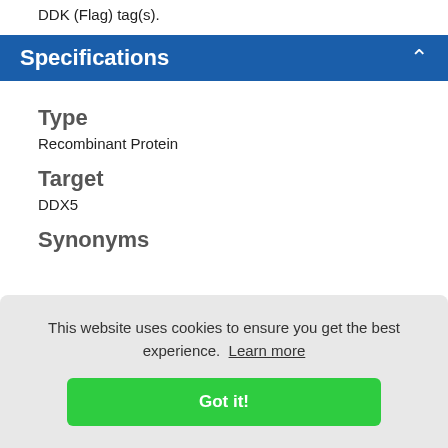DDK (Flag) tag(s).
Specifications
Type
Recombinant Protein
Target
DDX5
Synonyms
This website uses cookies to ensure you get the best experience. Learn more
Got it!